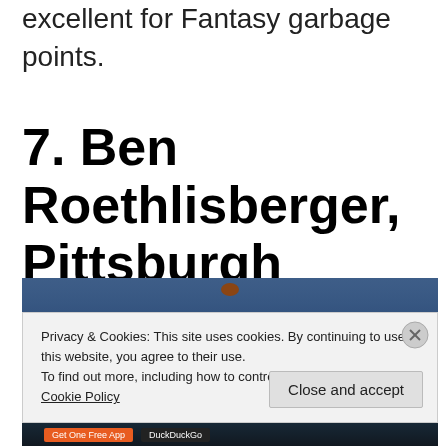excellent for Fantasy garbage points.
7. Ben Roethlisberger, Pittsburgh Steelers
[Figure (photo): Photo of Ben Roethlisberger with a cookie consent banner overlay. The banner reads: Privacy & Cookies: This site uses cookies. By continuing to use this website, you agree to their use. To find out more, including how to control cookies, see here: Cookie Policy. A 'Close and accept' button is at the bottom right with an X dismiss button.]